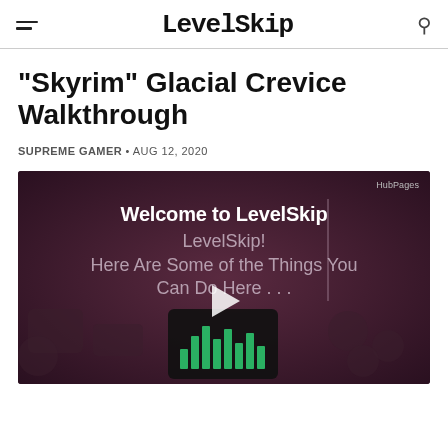LevelSkip
"Skyrim" Glacial Crevice Walkthrough
SUPREME GAMER • AUG 12, 2020
[Figure (screenshot): Video player screenshot showing Welcome to LevelSkip intro screen with play button and game controller imagery. Text reads: Welcome to LevelSkip! Here Are Some of the Things You Can Do Here...]